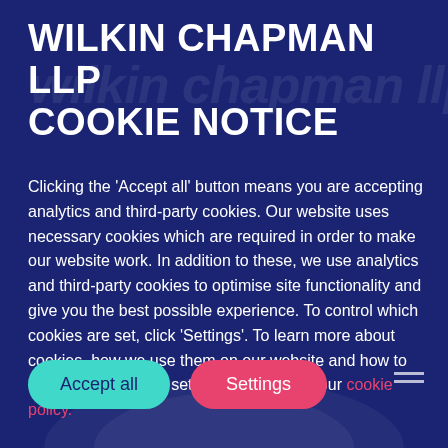WILKIN CHAPMAN LLP COOKIE NOTICE
Clicking the 'Accept all' button means you are accepting analytics and third-party cookies. Our website uses necessary cookies which are required in order to make our website work. In addition to these, we use analytics and third-party cookies to optimise site functionality and give you the best possible experience. To control which cookies are set, click 'Settings'. To learn more about cookies, how we use them on our website and how to change your cookie settings please view our cookie policy.